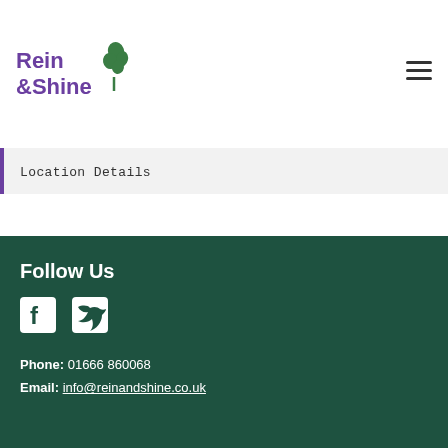[Figure (logo): Rein & Shine logo with purple text and green leaf/tree illustration]
Location Details
Follow Us
[Figure (illustration): Facebook and Twitter social media icons in white]
Phone: 01666 860068
Email: info@reinandshine.co.uk